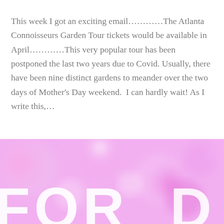This week I got an exciting email…………The Atlanta Connoisseurs Garden Tour tickets would be available in April…………This very popular tour has been postponed the last two years due to Covid. Usually, there have been nine distinct gardens to meander over the two days of Mother's Day weekend.  I can hardly wait! As I write this,…
READ MORE
[Figure (photo): Pink and white blurred bokeh background with large white block letters partially visible at the bottom, appearing to spell 'FOR' or similar text]